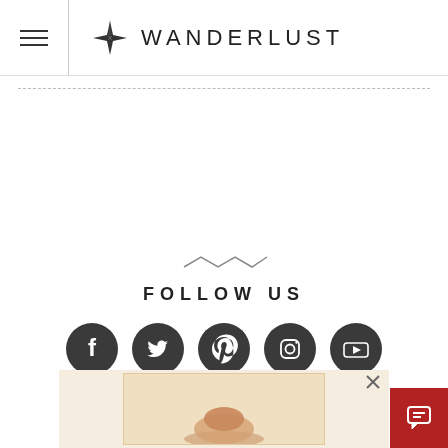WANDERLUST
[Figure (logo): Wanderlust logo with compass rose icon and text WANDERLUST in uppercase spaced letters]
FOLLOW US
[Figure (infographic): Five social media icons in dark gray circles: Facebook, Twitter, Pinterest, Instagram, YouTube]
[Figure (photo): Advertisement banner at bottom of page with reddish-brown background showing partial food/dessert image]